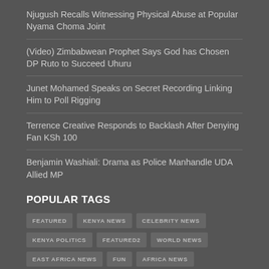Njugush Recalls Witnessing Physical Abuse at Popular Nyama Choma Joint
(Video) Zimbabwean Prophet Says God has Chosen DP Ruto to Succeed Uhuru
Junet Mohamed Speaks on Secret Recording Linking Him to Poll Rigging
Terrence Creative Responds to Backlash After Denying Fan KSh 100
Benjamin Washiali: Drama as Police Manhandle UDA Allied MP
POPULAR TAGS
FEATURED, KENYA NEWS, CELEBRITY NEWS, KENYA POLITICS, FEATURED2, WORLD NEWS, EAST AFRICA NEWS, FUN, AFRICA NEWS, MALAYSIA, ROSELINE APONDI, REBECCA BULIMO, WHITNEY ATIENO, GEORGE WAJACKOYAH, EZEKIEL MUTUA, MCSK, WILLIAM RUTO, UNIVERSITY OF NAIROBI, ST LAWRENCE UNIVERSITY, TEAMS UNIVERSITY, JOHNSON SAKAJA, ZISIQAO CHINA